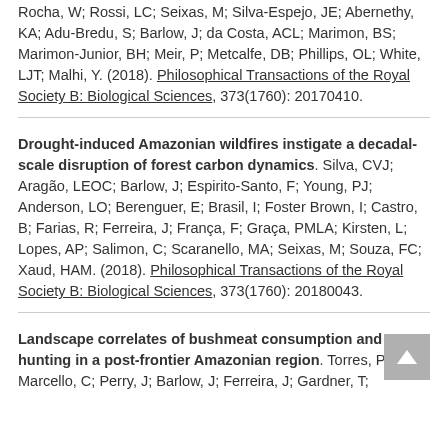Rocha, W; Rossi, LC; Seixas, M; Silva-Espejo, JE; Abernethy, KA; Adu-Bredu, S; Barlow, J; da Costa, ACL; Marimon, BS; Marimon-Junior, BH; Meir, P; Metcalfe, DB; Phillips, OL; White, LJT; Malhi, Y. (2018). Philosophical Transactions of the Royal Society B: Biological Sciences, 373(1760): 20170410.
Drought-induced Amazonian wildfires instigate a decadal-scale disruption of forest carbon dynamics. Silva, CVJ; Aragão, LEOC; Barlow, J; Espirito-Santo, F; Young, PJ; Anderson, LO; Berenguer, E; Brasil, I; Foster Brown, I; Castro, B; Farias, R; Ferreira, J; França, F; Graça, PMLA; Kirsten, L; Lopes, AP; Salimon, C; Scaranello, MA; Seixas, M; Souza, FC; Xaud, HAM. (2018). Philosophical Transactions of the Royal Society B: Biological Sciences, 373(1760): 20180043.
Landscape correlates of bushmeat consumption and hunting in a post-frontier Amazonian region. Torres, PC; Marcello, C; Perry, J; Barlow, J; Ferreira, J; Gardner, T;